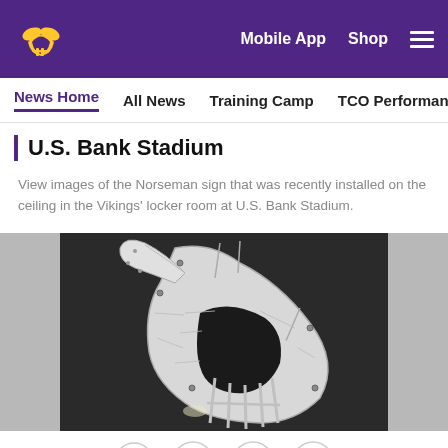Minnesota Vikings website header with logo, Mobile App, Shop, and hamburger menu
News Home  All News  Training Camp  TCO Performance Center
U.S. Bank Stadium
View images of the Norseman sign that was recently installed on the ceiling in the Vikings' locker room at U.S. Bank Stadium.
[Figure (photo): Close-up photo of the Norseman (Viking helmet) sign being installed on a dark ceiling, showing the silver/white metallic shape with mounting hardware]
[Figure (infographic): Social sharing icons: Facebook, Twitter, Email, Link]